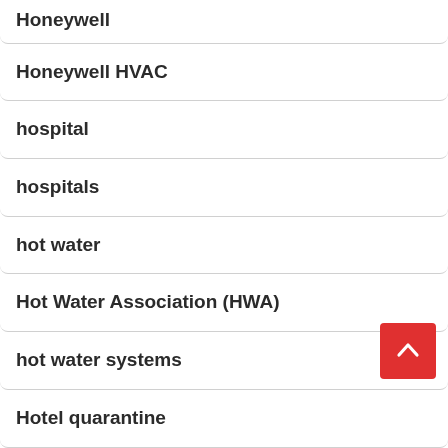Honeywell
Honeywell HVAC
hospital
hospitals
hot water
Hot Water Association (HWA)
hot water systems
Hotel quarantine
Hounslow